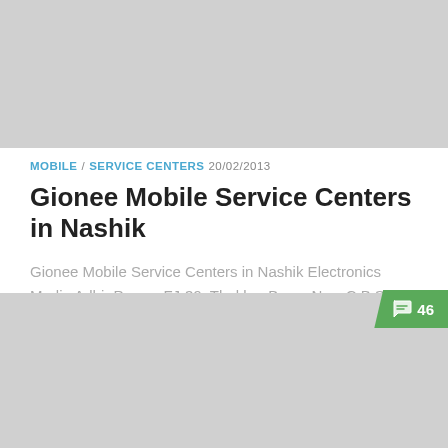[Figure (photo): Gray placeholder image at the top of the page]
MOBILE / SERVICE CENTERS 20/02/2013
Gionee Mobile Service Centers in Nashik
Gionee Mobile Service Centers in Nashik Electronics Media Adhir Pawar, FJ-39, Thakkar Bazar New C.B.S Nashik, Maharashtra – 422001 PH: 9021797984/9028673694/9021797923
[Figure (photo): Gray placeholder image at the bottom of the page with a green comment badge showing 46 comments]